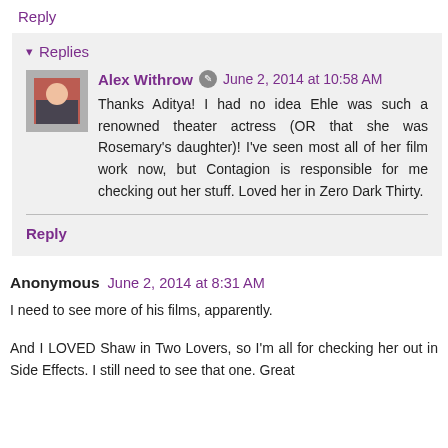Reply
Replies
Alex Withrow  June 2, 2014 at 10:58 AM
Thanks Aditya! I had no idea Ehle was such a renowned theater actress (OR that she was Rosemary's daughter)! I've seen most all of her film work now, but Contagion is responsible for me checking out her stuff. Loved her in Zero Dark Thirty.
Reply
Anonymous  June 2, 2014 at 8:31 AM
I need to see more of his films, apparently.
And I LOVED Shaw in Two Lovers, so I'm all for checking her out in Side Effects. I still need to see that one. Great